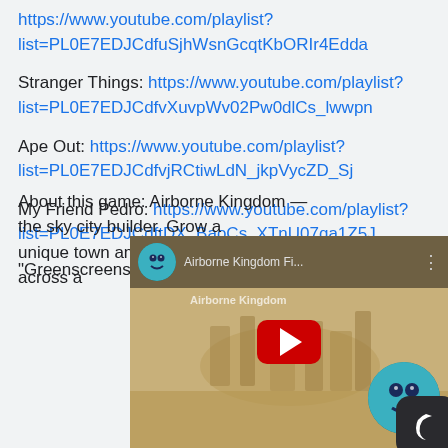https://www.youtube.com/playlist?list=PL0E7EDBJCdfuSjhWsnGcqtKbORIr4Edda
Stranger Things: https://www.youtube.com/playlist?list=PL0E7EDJCdfvXuvpWv02Pw0dlCs_lwwpn
Ape Out: https://www.youtube.com/playlist?list=PL0E7EDJCdfvjRCtiwLdN_jkpVycZD_Sj
My Friend Pedro: https://www.youtube.com/playlist?list=PL0E7EDJCdftDX_BaoCs_XTnU07qa1Z5J
“Greenscreens by JanTube Editing”
About this game: Airborne Kingdom — the sky city builder. Grow a unique town among the clouds, and fly it across a
[Figure (screenshot): YouTube video embed showing 'Airborne Kingdom Fi...' with a play button, avatar icon on top left, and a round avatar on bottom right. A dark mode crescent moon icon overlaps the bottom right corner.]